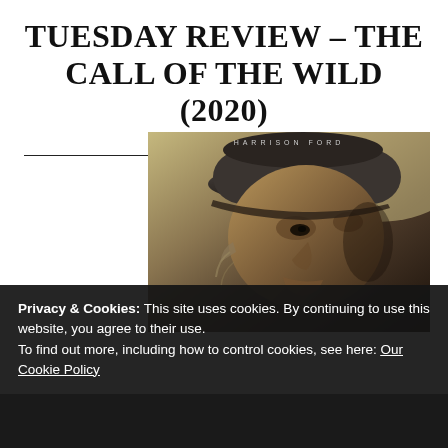TUESDAY REVIEW – THE CALL OF THE WILD (2020)
films, reviews
[Figure (photo): Movie poster for The Call of the Wild (2020) featuring Harrison Ford's face partially visible, wearing a dark knit cap, with moody lighting. Text 'HARRISON FORD' appears at the top of the poster.]
Privacy & Cookies: This site uses cookies. By continuing to use this website, you agree to their use.
To find out more, including how to control cookies, see here: Our Cookie Policy
Close and accept